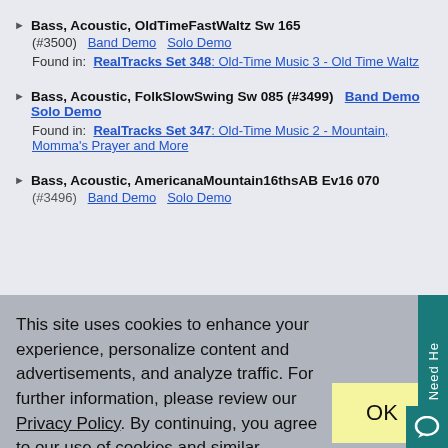Bass, Acoustic, OldTimeFastWaltz Sw 165 (#3500) Band Demo Solo Demo Found in: RealTracks Set 348: Old-Time Music 3 - Old Time Waltz
Bass, Acoustic, FolkSlowSwing Sw 085 (#3499) Band Demo Solo Demo Found in: RealTracks Set 347: Old-Time Music 2 - Mountain, Momma's Prayer and More
Bass, Acoustic, AmericanaMountain16thsAB Ev16 070 (#3496) Band Demo Solo Demo
This site uses cookies to enhance your experience, personalize content and advertisements, and analyze traffic. For further information, please review our Privacy Policy. By continuing, you agree to our use of cookies and similar technologies.